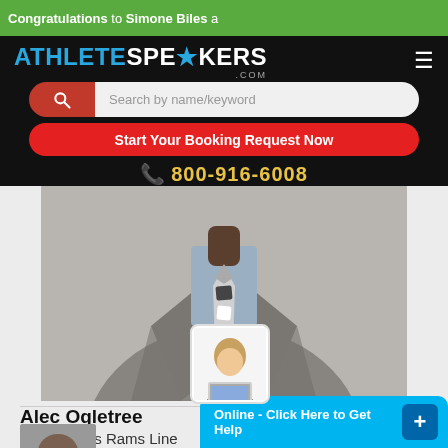Congratulations to Simone Biles a
[Figure (screenshot): AthleteSpeakers.com website header with logo, search bar, booking button, and phone number on black background]
[Figure (photo): Cropped photo of a man in a grey suit with a patterned tie, face not visible]
Alec Ogletree
Los Angeles Rams Line
[Figure (screenshot): Online chat widget with female agent avatar, blue background, saying 'Online - Click Here to Get Help' with a + button]